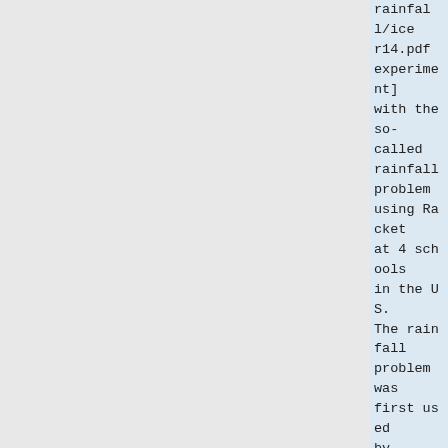rainfall/icer14.pdf experiment] with the so-called rainfall problem using Racket at 4 schools in the US. The rainfall problem was first used by [http://citeseerx.ist.psu.edu/viewdoc/download?doi=10.1.1.11.6583&rep=rep1&type=pdf Elliot